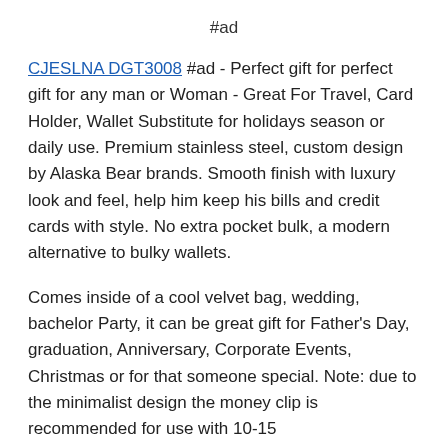#ad
CJESLNA DGT3008 #ad - Perfect gift for perfect gift for any man or Woman - Great For Travel, Card Holder, Wallet Substitute for holidays season or daily use. Premium stainless steel, custom design by Alaska Bear brands. Smooth finish with luxury look and feel, help him keep his bills and credit cards with style. No extra pocket bulk, a modern alternative to bulky wallets.
Comes inside of a cool velvet bag, wedding, bachelor Party, it can be great gift for Father's Day, graduation, Anniversary, Corporate Events, Christmas or for that someone special. Note: due to the minimalist design the money clip is recommended for use with 10-15